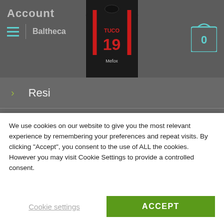Account | Baltheca
[Figure (photo): Black soccer jersey with number 19 and name TUCO, Mefox sponsor]
Resi
Gift Card
Logout
Link Uili
We use cookies on our website to give you the most relevant experience by remembering your preferences and repeat visits. By clicking "Accept", you consent to the use of ALL the cookies. However you may visit Cookie Settings to provide a controlled consent.
Cookie settings
ACCEPT